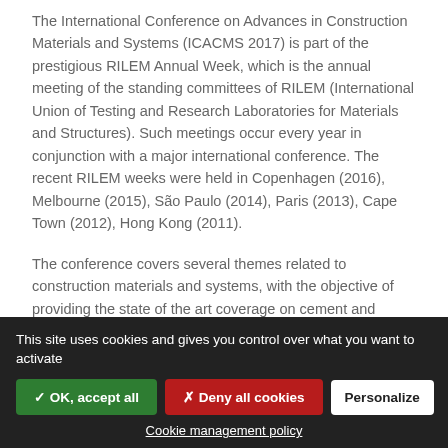The International Conference on Advances in Construction Materials and Systems (ICACMS 2017) is part of the prestigious RILEM Annual Week, which is the annual meeting of the standing committees of RILEM (International Union of Testing and Research Laboratories for Materials and Structures). Such meetings occur every year in conjunction with a major international conference. The recent RILEM weeks were held in Copenhagen (2016), Melbourne (2015), São Paulo (2014), Paris (2013), Cape Town (2012), Hong Kong (2011).
The conference covers several themes related to construction materials and systems, with the objective of providing the state of the art coverage on cement and asphalt concrete, heritage materials, and building
This site uses cookies and gives you control over what you want to activate
✓ OK, accept all
✗ Deny all cookies
Personalize
Cookie management policy